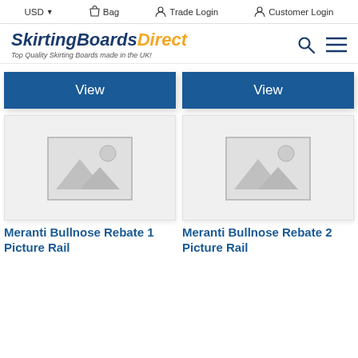USD  Bag  Trade Login  Customer Login
[Figure (logo): SkirtingBoardsDirect logo with tagline 'Top Quality Skirting Boards made in the UK!']
View
View
[Figure (photo): Product image placeholder (no image available) for Meranti Bullnose Rebate 1 Picture Rail]
[Figure (photo): Product image placeholder (no image available) for Meranti Bullnose Rebate 2 Picture Rail]
Meranti Bullnose Rebate 1 Picture Rail
Meranti Bullnose Rebate 2 Picture Rail